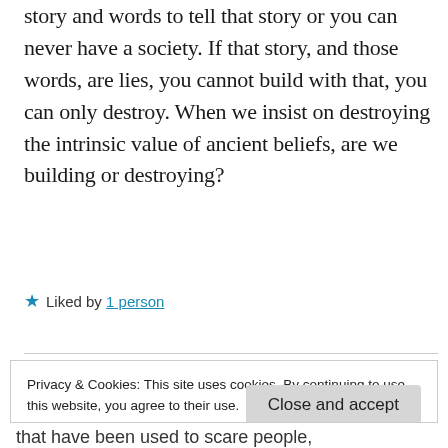story and words to tell that story or you can never have a society. If that story, and those words, are lies, you cannot build with that, you can only destroy. When we insist on destroying the intrinsic value of ancient beliefs, are we building or destroying?
★ Liked by 1 person
Privacy & Cookies: This site uses cookies. By continuing to use this website, you agree to their use.
To find out more, including how to control cookies, see here:
Cookie Policy
Close and accept
that have been used to scare people,